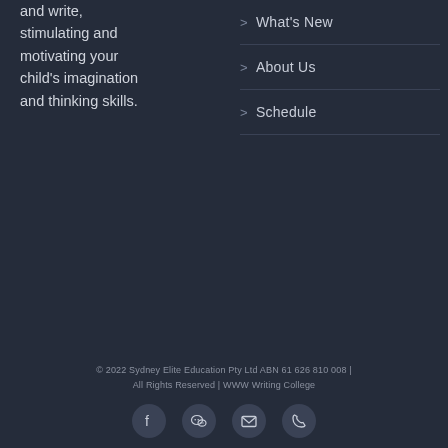and write, stimulating and motivating your child's imagination and thinking skills.
> What's New
> About Us
> Schedule
© 2022 Sydney Elite Education Pty Ltd ABN 61 626 810 008 | All Rights Reserved | WWW Writing College
[Figure (other): Social media icons: Facebook, WeChat, Email, Phone]